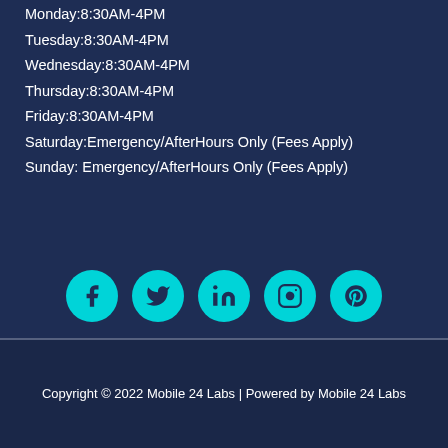Monday:8:30AM-4PM
Tuesday:8:30AM-4PM
Wednesday:8:30AM-4PM
Thursday:8:30AM-4PM
Friday:8:30AM-4PM
Saturday:Emergency/AfterHours Only (Fees Apply)
Sunday: Emergency/AfterHours Only (Fees Apply)
[Figure (infographic): Five social media icon circles (Facebook, Twitter, LinkedIn, Instagram, Pinterest) in cyan/teal color on dark blue background]
Copyright © 2022 Mobile 24 Labs | Powered by Mobile 24 Labs